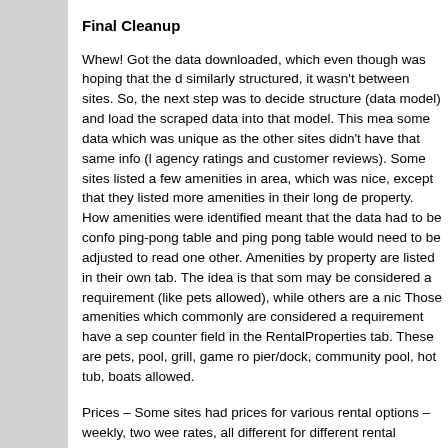Final Cleanup
Whew! Got the data downloaded, which even though was hoping that the d similarly structured, it wasn't between sites. So, the next step was to decide structure (data model) and load the scraped data into that model. This mea some data which was unique as the other sites didn't have that same info (l agency ratings and customer reviews). Some sites listed a few amenities in area, which was nice, except that they listed more amenities in their long de property. How amenities were identified meant that the data had to be confo ping-pong table and ping pong table would need to be adjusted to read one other. Amenities by property are listed in their own tab. The idea is that som may be considered a requirement (like pets allowed), while others are a nic Those amenities which commonly are considered a requirement have a sep counter field in the RentalProperties tab. These are pets, pool, grill, game ro pier/dock, community pool, hot tub, boats allowed.
Prices – Some sites had prices for various rental options – weekly, two wee rates, all different for different rental ranges. Others had just weekly rates fo ranges. I was only interested in a particular week, so that week's rate is incl column in the main RentalProperties tab. Even then, some properties scrap up a price, so a manual verification of those properties revealed three condi property no longer was listed by the rental agency (it was listed when the lis scrape occurred, but no longer existed a few weeks later when the price ve